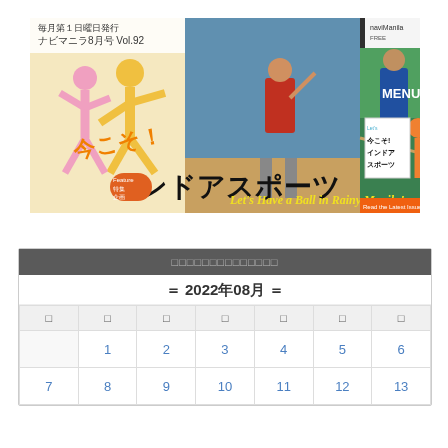[Figure (illustration): NaviManila August issue Vol.92 magazine cover banner featuring indoor sports theme. Shows silhouettes of athletes, photos of badminton and billiards players, Japanese text reading 今こそ！インドアスポーツ (Now! Indoor Sports), subtitle Let's Have a Ball in Rainy Manila!, and NaviManila logo with MENU button.]
| 日 | 月 | 火 | 水 | 木 | 金 | 土 |
| --- | --- | --- | --- | --- | --- | --- |
|  | 1 | 2 | 3 | 4 | 5 | 6 |
| 7 | 8 | 9 | 10 | 11 | 12 | 13 |